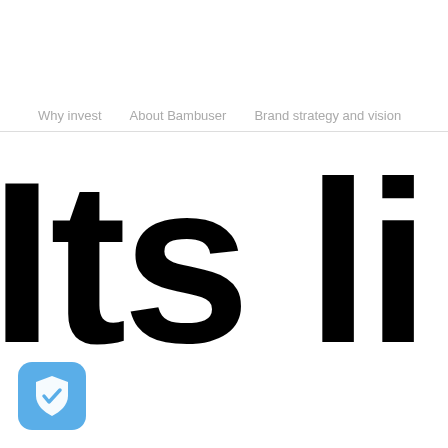Why invest   About Bambuser   Brand strategy and vision
Its li
[Figure (logo): Blue rounded square icon with a white shield and checkmark inside]